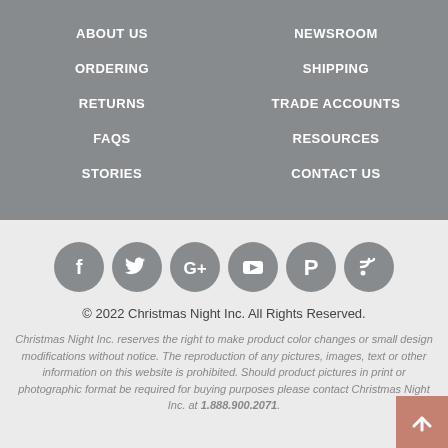ABOUT US
NEWSROOM
ORDERING
SHIPPING
RETURNS
TRADE ACCOUNTS
FAQS
RESOURCES
STORIES
CONTACT US
[Figure (infographic): Social media icons: Facebook, Twitter, Google+, YouTube, Pinterest, Blog/RSS]
© 2022 Christmas Night Inc. All Rights Reserved.
Christmas Night Inc. reserves the right to make product color changes or small design modifications without notice. The reproduction of any pictures, images, text or other information on this website is prohibited. Should product pictures in print or photographic format be required for buying purposes please contact Christmas Night Inc. at 1.888.900.2071.